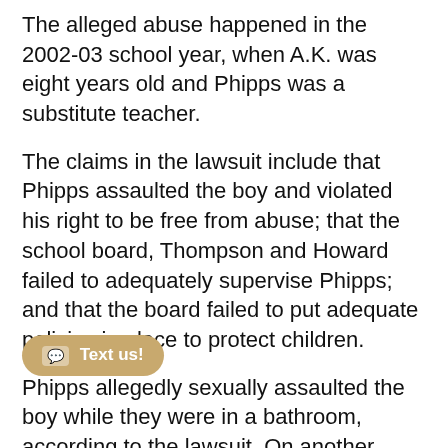The alleged abuse happened in the 2002-03 school year, when A.K. was eight years old and Phipps was a substitute teacher.
The claims in the lawsuit include that Phipps assaulted the boy and violated his right to be free from abuse; that the school board, Thompson and Howard failed to adequately supervise Phipps; and that the board failed to put adequate policies in place to protect children.
Phipps allegedly sexually assaulted the boy while they were in a bathroom, according to the lawsuit. On another occasion, Phipps fondled the boy, the lawsuit alleges.
Phipps threatened to hurt the boy if he told about the attacks, the lawsuit says.
The suit says parents told Howard, the principal that y[...] frequently yelled at students, telling [...] their worst nightmare, the lawsuit says.
Parents also told Howard about concerns that Phipps